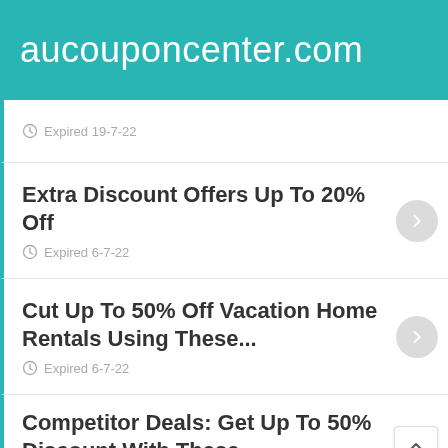aucouponcenter.com
Expired 19-7-22
Extra Discount Offers Up To 20% Off
Expired 6-7-22
Cut Up To 50% Off Vacation Home Rentals Using These...
Expired 6-7-22
Competitor Deals: Get Up To 50% Discount With These...